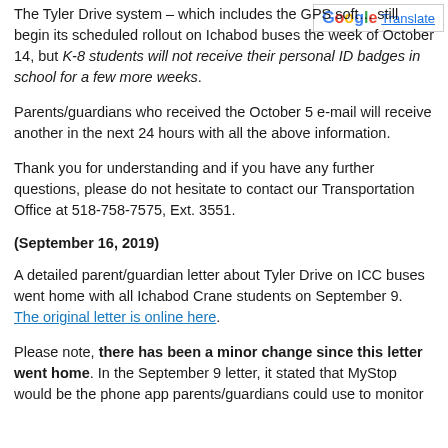The Tyler Drive system – which includes the GPS soft... still begin its scheduled rollout on Ichabod buses the week of October 14, but K-8 students will not receive their personal ID badges in school for a few more weeks.
Parents/guardians who received the October 5 e-mail will receive another in the next 24 hours with all the above information.
Thank you for understanding and if you have any further questions, please do not hesitate to contact our Transportation Office at 518-758-7575, Ext. 3551.
(September 16, 2019)
A detailed parent/guardian letter about Tyler Drive on ICC buses went home with all Ichabod Crane students on September 9. The original letter is online here.
Please note, there has been a minor change since this letter went home. In the September 9 letter, it stated that MyStop would be the phone app parents/guardians could use to monitor